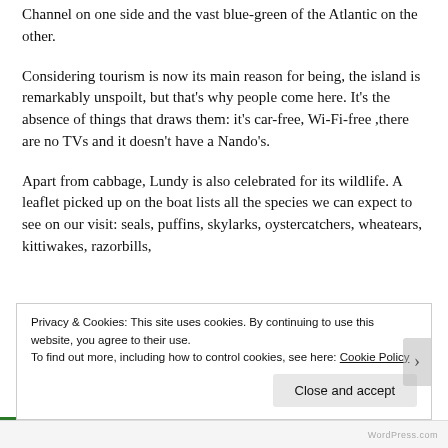Channel on one side and the vast blue-green of the Atlantic on the other.
Considering tourism is now its main reason for being, the island is remarkably unspoilt, but that’s why people come here. It’s the absence of things that draws them: it’s car-free, Wi-Fi-free ,there are no TVs and it doesn’t have a Nando’s.
Apart from cabbage, Lundy is also celebrated for its wildlife. A leaflet picked up on the boat lists all the species we can expect to see on our visit: seals, puffins, skylarks, oystercatchers, wheatears, kittiwakes, razorbills,
Privacy & Cookies: This site uses cookies. By continuing to use this website, you agree to their use. To find out more, including how to control cookies, see here: Cookie Policy